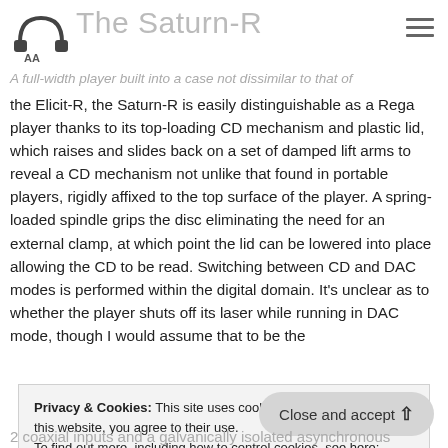The Saturn-R
A full-width player built into a case not dissimilar to that of the Elicit-R, the Saturn-R is easily distinguishable as a Rega player thanks to its top-loading CD mechanism and plastic lid, which raises and slides back on a set of damped lift arms to reveal a CD mechanism not unlike that found in portable players, rigidly affixed to the top surface of the player. A spring-loaded spindle grips the disc eliminating the need for an external clamp, at which point the lid can be lowered into place allowing the CD to be read. Switching between CD and DAC modes is performed within the digital domain. It's unclear as to whether the player shuts off its laser while running in DAC mode, though I would assume that to be the
Privacy & Cookies: This site uses cookies. By continuing to use this website, you agree to their use.
To find out more, including how to control cookies, see here:
Cookie Policy
Close and accept
2 coaxial inputs and a galvanically isolated asynchronous